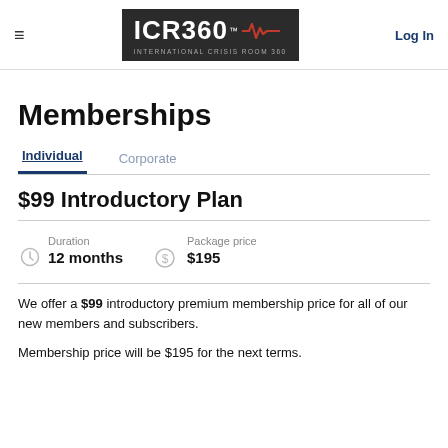ICR360™ INTERNATIONAL CRISIS ROOM 360 | Log In
Memberships
Individual | Corporate
$99 Introductory Plan
Duration: 12 months | Package price: $195
We offer a $99 introductory premium membership price for all of our new members and subscribers.
Membership price will be $195 for the next terms.